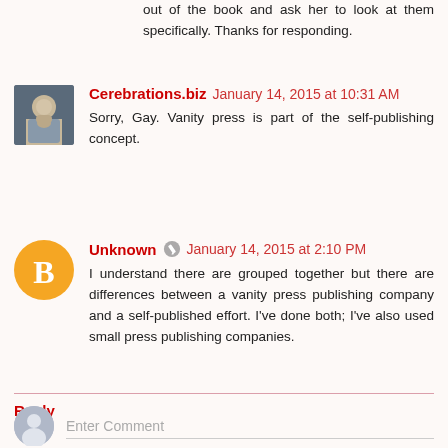out of the book and ask her to look at them specifically. Thanks for responding.
Cerebrations.biz  January 14, 2015 at 10:31 AM
Sorry, Gay. Vanity press is part of the self-publishing concept.
Unknown  January 14, 2015 at 2:10 PM
I understand there are grouped together but there are differences between a vanity press publishing company and a self-published effort. I've done both; I've also used small press publishing companies.
Reply
Enter Comment